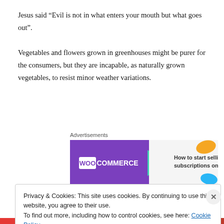Jesus said “Evil is not in what enters your mouth but what goes out”. Vegetables and flowers grown in greenhouses might be purer for the consumers, but they are incapable, as naturally grown vegetables, to resist minor weather variations.
Advertisements
[Figure (other): WooCommerce advertisement banner: purple background with WooCommerce logo on left, teal arrow pointing right, text 'How to start selling subscriptions online' on right with orange and blue decorative blobs]
Vegetarians are still eating live condiments that obey the cycle of life, as we
Privacy & Cookies: This site uses cookies. By continuing to use this website, you agree to their use.
To find out more, including how to control cookies, see here: Cookie Policy
Close and accept